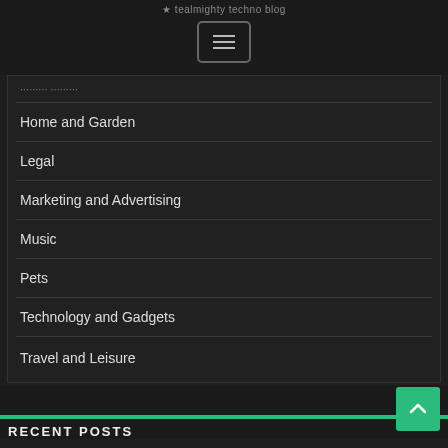★ Tealmighty techno blog
[Figure (other): Hamburger menu button icon with three horizontal bars inside a rounded rectangle border]
... (partially visible category)
Home and Garden
Legal
Marketing and Advertising
Music
Pets
Technology and Gadgets
Travel and Leisure
RECENT POSTS